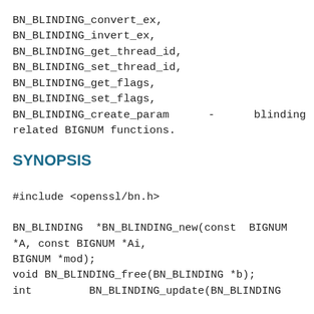BN_BLINDING_convert_ex,
BN_BLINDING_invert_ex,
BN_BLINDING_get_thread_id,
BN_BLINDING_set_thread_id,
BN_BLINDING_get_flags,
BN_BLINDING_set_flags,
BN_BLINDING_create_param      -      blinding
related BIGNUM functions.
SYNOPSIS
#include <openssl/bn.h>

BN_BLINDING  *BN_BLINDING_new(const  BIGNUM
*A, const BIGNUM *Ai,
BIGNUM *mod);
void BN_BLINDING_free(BN_BLINDING *b);
int         BN_BLINDING_update(BN_BLINDING